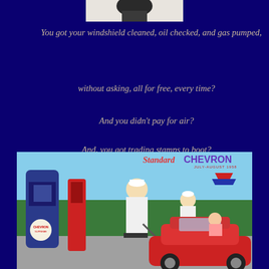[Figure (photo): Small partial photo at top, appears to show a dark object, cropped]
You got your windshield cleaned, oil checked, and gas pumped,
without asking, all for free, every time?
And you didn't pay for air?
And, you got trading stamps to boot?
[Figure (photo): Vintage Standard Chevron magazine cover, July-August 1958, showing gas station attendants in white uniforms servicing a red convertible car at Chevron gas pumps]